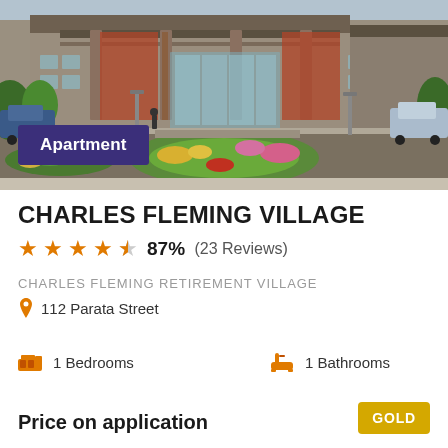[Figure (photo): Exterior photo of Charles Fleming Village retirement apartment building with landscaped gardens, flower beds, and parking area]
Apartment
CHARLES FLEMING VILLAGE
★★★★✦ 87%  (23 Reviews)
CHARLES FLEMING RETIREMENT VILLAGE
📍 112 Parata Street
🛏 1 Bedrooms    🛁 1 Bathrooms
Price on application
GOLD